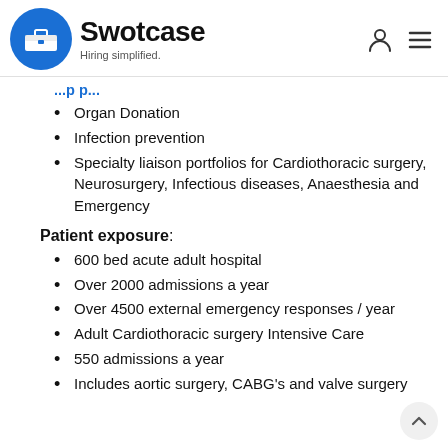Swotcase — Hiring simplified.
Organ Donation
Infection prevention
Specialty liaison portfolios for Cardiothoracic surgery, Neurosurgery, Infectious diseases, Anaesthesia and Emergency
Patient exposure:
600 bed acute adult hospital
Over 2000 admissions a year
Over 4500 external emergency responses / year
Adult Cardiothoracic surgery Intensive Care
550 admissions a year
Includes aortic surgery, CABG's and valve surgery